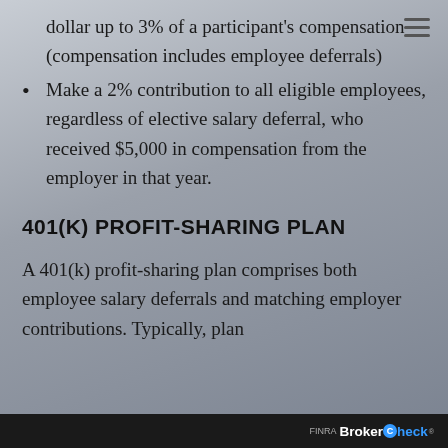dollar up to 3% of a participant's compensation (compensation includes employee deferrals)
Make a 2% contribution to all eligible employees, regardless of elective salary deferral, who received $5,000 in compensation from the employer in that year.
401(K) PROFIT-SHARING PLAN
A 401(k) profit-sharing plan comprises both employee salary deferrals and matching employer contributions. Typically, plan
BrokerCheck